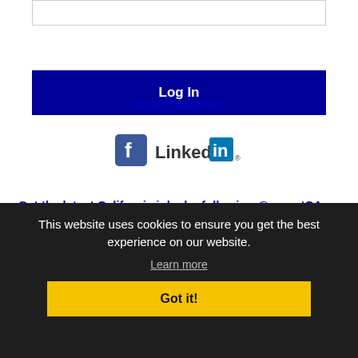[Figure (screenshot): Password input field (text box, empty)]
[Figure (screenshot): Log In button — dark navy/blue background with white bold text 'Log In']
Forgot password?
[Figure (logo): Facebook logo (blue F icon) and LinkedIn logo (Linked in-box with registered mark)]
Get the latest California jobs by following @recnetCA on Twitter!
This website uses cookies to ensure you get the best experience on our website.
Learn more
[Figure (screenshot): Got it! button — yellow background with bold black text 'Got it!']